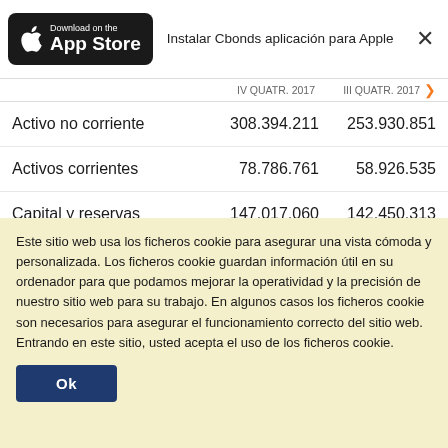[Figure (logo): Download on the App Store button (Apple App Store badge, black background)]
Instalar Cbonds aplicación para Apple
|  | IV QUATR. 2017 | III QUATR. 2017 |
| --- | --- | --- |
| Activo no corriente | 308.394.211 | 253.930.851 |
| Activos corrientes | 78.786.761 | 58.926.535 |
| Capital y reservas | 147.017.060 | 142.450.313 |
| Obligaciones a largo plazo | 180.350.093 | 129.813.633 |
| Obligaciones a corto plazo | 59.813.819 | 40.593.440 |
Este sitio web usa los ficheros cookie para asegurar una vista cómoda y personalizada. Los ficheros cookie guardan información útil en su ordenador para que podamos mejorar la operatividad y la precisión de nuestro sitio web para su trabajo. En algunos casos los ficheros cookie son necesarios para asegurar el funcionamiento correcto del sitio web. Entrando en este sitio, usted acepta el uso de los ficheros cookie.
Ok